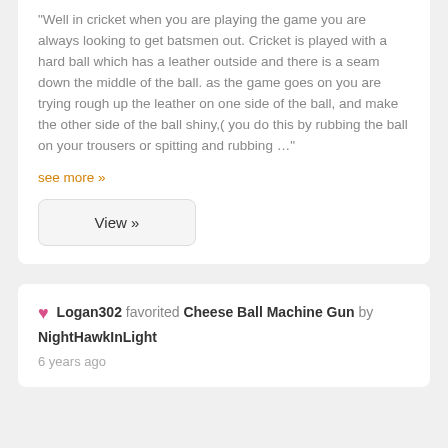“Well in cricket when you are playing the game you are always looking to get batsmen out. Cricket is played with a hard ball which has a leather outside and there is a seam down the middle of the ball. as the game goes on you are trying rough up the leather on one side of the ball, and make the other side of the ball shiny,( you do this by rubbing the ball on your trousers or spitting and rubbing …”
see more »
View »
Logan302 favorited Cheese Ball Machine Gun by NightHawkInLight
6 years ago